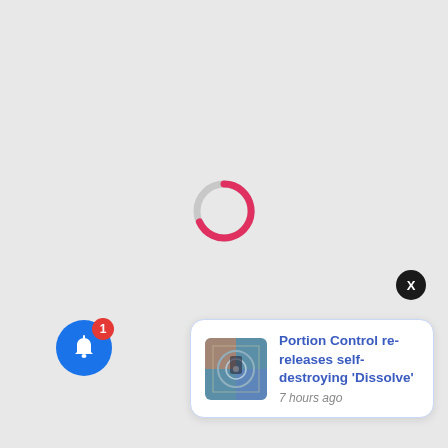[Figure (other): Circular loading spinner with grey track and red/pink arc segment indicating loading progress, centered on light grey background]
[Figure (other): Round black close/dismiss button with white X, positioned above notification card at upper right]
[Figure (other): Notification card with album art thumbnail, blue title text 'Portion Control re-releases self-destroying Dissolve' and grey timestamp '7 hours ago']
[Figure (other): Blue circular notification bell button with red badge showing number 1, positioned at bottom left]